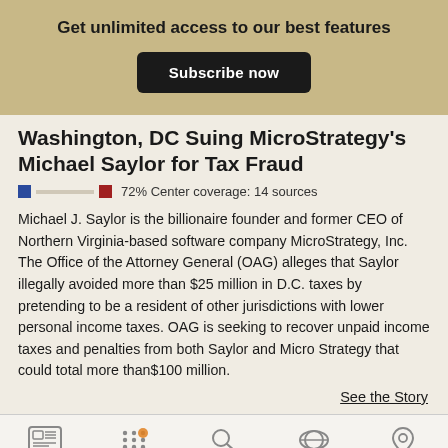Get unlimited access to our best features
Washington, DC Suing MicroStrategy's Michael Saylor for Tax Fraud
72% Center coverage: 14 sources
Michael J. Saylor is the billionaire founder and former CEO of Northern Virginia-based software company MicroStrategy, Inc. The Office of the Attorney General (OAG) alleges that Saylor illegally avoided more than $25 million in D.C. taxes by pretending to be a resident of other jurisdictions with lower personal income taxes. OAG is seeking to recover unpaid income taxes and penalties from both Saylor and Micro Strategy that could total more than$100 million.
See the Story